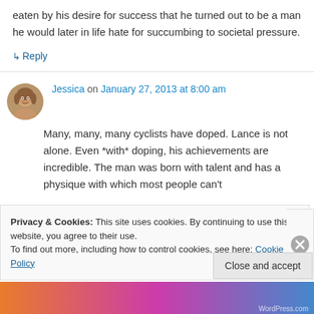eaten by his desire for success that he turned out to be a man he would later in life hate for succumbing to societal pressure.
↳ Reply
Jessica on January 27, 2013 at 8:00 am
Many, many, many cyclists have doped. Lance is not alone. Even *with* doping, his achievements are incredible. The man was born with talent and has a physique with which most people can't
Privacy & Cookies: This site uses cookies. By continuing to use this website, you agree to their use.
To find out more, including how to control cookies, see here: Cookie Policy
Close and accept